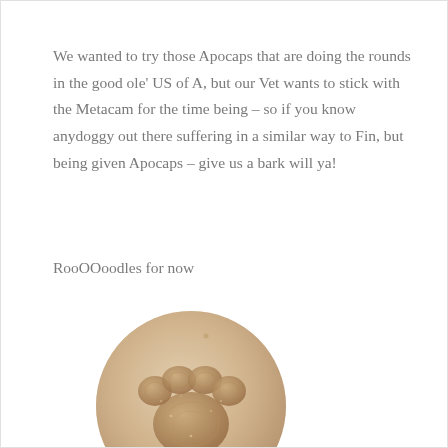We wanted to try those Apocaps that are doing the rounds in the good ole' US of A, but our Vet wants to stick with the Metacam for the time being – so if you know anydoggy out there suffering in a similar way to Fin, but being given Apocaps – give us a bark will ya!
RooOOoodles for now
[Figure (illustration): A circular golden-tan paw print casting/impression, with a handwritten signature overlay reading 'RooOoodles Bobby' with a small cross/kiss symbol beneath]